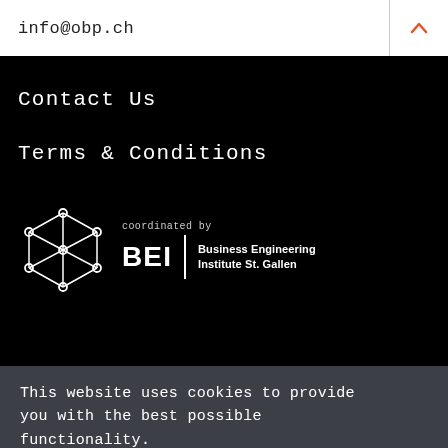info@obp.ch
Contact Us
Terms & Conditions
[Figure (logo): BEI Business Engineering Institute St. Gallen logo with geometric network icon. Text: coordinated by / BEI | Business Engineering Institute St. Gallen]
This website uses cookies to provide you with the best possible functionality.
CONTINUE